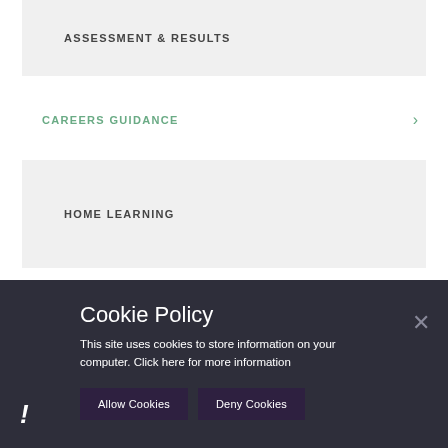ASSESSMENT & RESULTS
CAREERS GUIDANCE
HOME LEARNING
Cookie Policy
This site uses cookies to store information on your computer. Click here for more information
Allow Cookies
Deny Cookies